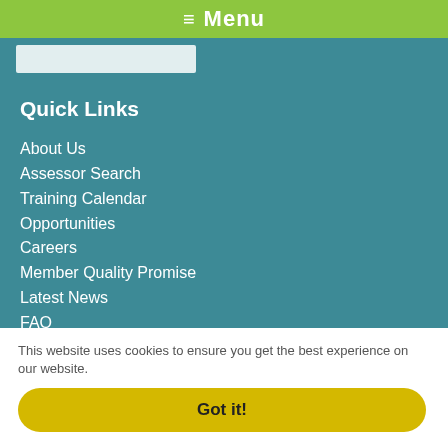≡ Menu
Quick Links
About Us
Assessor Search
Training Calendar
Opportunities
Careers
Member Quality Promise
Latest News
FAQ
Access Elmhurst
Contacts
Privacy Policy
Cookie Policy
This website uses cookies to ensure you get the best experience on our website.
Got it!